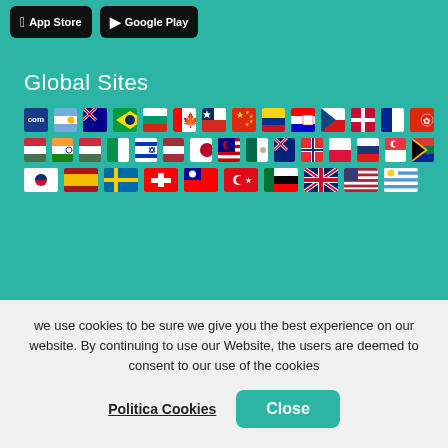[Figure (screenshot): App Store and Google Play download buttons at top]
Global Sites
[Figure (infographic): Grid of country flag icons representing global sites — rows of flags for various countries including .com, Argentina, Australia, Brazil, Bulgaria, Canada, Chile, China, Colombia, Croatia, Czech Republic, Denmark, France, Hong Kong, Hungary (red stripe), India, Hungary, Italy, Israel, Latvia, Japan, Malaysia, Mexico, New Zealand, Norway, Poland, Russia, Singapore, South Africa, South Korea, Spain, Sweden, Switzerland, Taiwan, Turkey, UAE, UK, USA, Uruguay]
The prices refer to the amount per person, Port Taxes included. The service charge is always due to be paid on board, except when expressly specified. The prices are "starting from" and refer to the amount based on double occupancy. They may depend on the availability of the cabins. The prices may change at any time depending on the ship, the date of departure, the category and the
we use cookies to be sure we give you the best experience on our website. By continuing to use our Website, the users are deemed to consent to our use of the cookies
Politica Cookies
Close